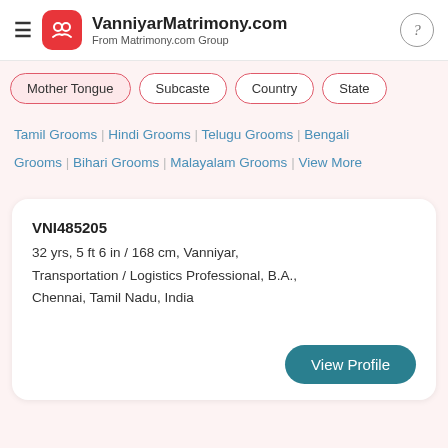VanniyarMatrimony.com — From Matrimony.com Group
Mother Tongue
Subcaste
Country
State
Tamil Grooms | Hindi Grooms | Telugu Grooms | Bengali
Grooms | Bihari Grooms | Malayalam Grooms | View More
VNI485205
32 yrs, 5 ft 6 in / 168 cm, Vanniyar, Transportation / Logistics Professional, B.A., Chennai, Tamil Nadu, India